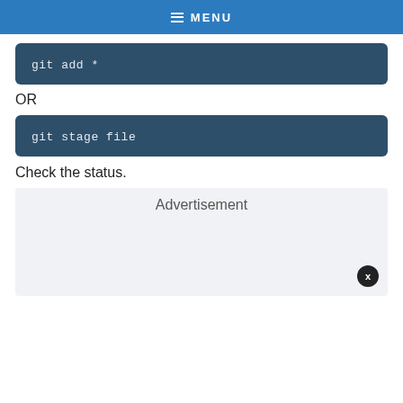MENU
git add *
OR
git stage file
Check the status.
[Figure (other): Advertisement placeholder box with close button (X)]